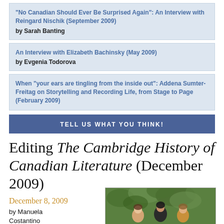“No Canadian Should Ever Be Surprised Again”: An Interview with Reingard Nischik (September 2009) by Sarah Banting
An Interview with Elizabeth Bachinsky (May 2009) by Evgenia Todorova
When “your ears are tingling from the inside out”: Addena Sumter-Freitag on Storytelling and Recording Life, from Stage to Page (February 2009)
TELL US WHAT YOU THINK!
Editing The Cambridge History of Canadian Literature (December 2009)
December 8, 2009
by Manuela Costantino
[Figure (photo): Group photo of three women outdoors with green foliage background]